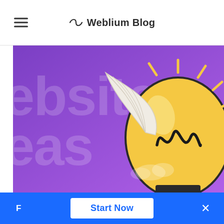Weblium Blog
[Figure (illustration): Purple gradient background with large text 'website ideas' partially visible on the left, a white feather wing in the upper center, and a large yellow lightbulb with a hand-drawn letter M inside and radiating yellow lines on the right side.]
F  Start Now  ×